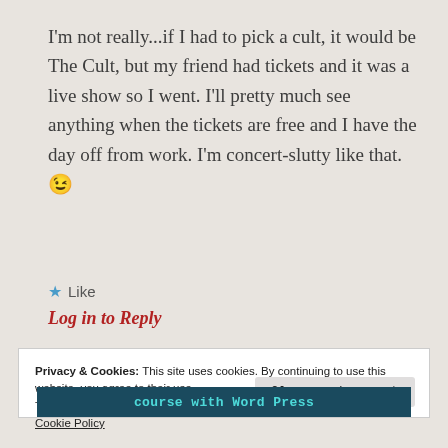I'm not really...if I had to pick a cult, it would be The Cult, but my friend had tickets and it was a live show so I went. I'll pretty much see anything when the tickets are free and I have the day off from work. I'm concert-slutty like that. 😉
★ Like
Log in to Reply
Privacy & Cookies: This site uses cookies. By continuing to use this website, you agree to their use.
To find out more, including how to control cookies, see here:
Cookie Policy
Close and accept